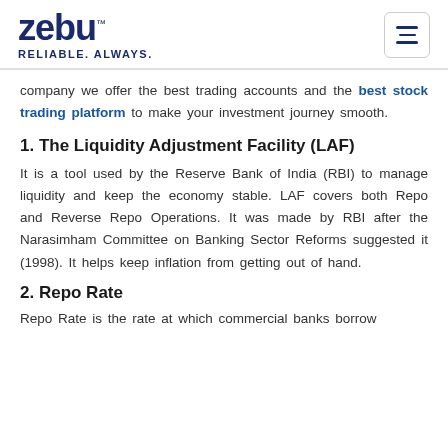zebu™ RELIABLE. ALWAYS.
company we offer the best trading accounts and the best stock trading platform to make your investment journey smooth.
1. The Liquidity Adjustment Facility (LAF)
It is a tool used by the Reserve Bank of India (RBI) to manage liquidity and keep the economy stable. LAF covers both Repo and Reverse Repo Operations. It was made by RBI after the Narasimham Committee on Banking Sector Reforms suggested it (1998). It helps keep inflation from getting out of hand.
2. Repo Rate
Repo Rate is the rate at which commercial banks borrow